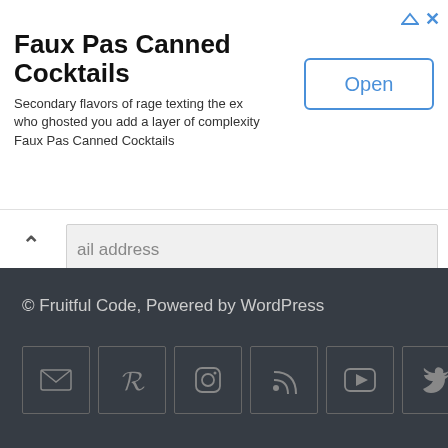[Figure (screenshot): Advertisement banner for Faux Pas Canned Cocktails with Open button and close icons]
Faux Pas Canned Cocktails
Secondary flavors of rage texting the ex who ghosted you add a layer of complexity Faux Pas Canned Cocktails
Open
ail address
Subscribe
© Fruitful Code, Powered by WordPress